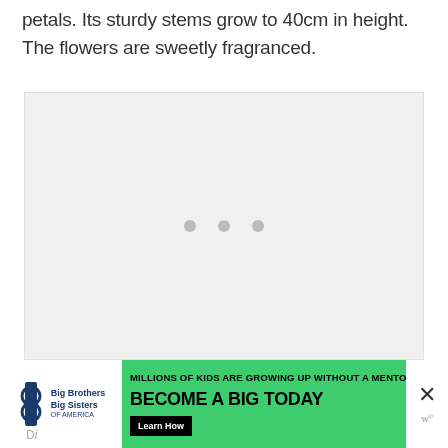petals. Its sturdy stems grow to 40cm in height. The flowers are sweetly fragranced.
[Figure (other): Large light grey placeholder image area with three grey loading dots centered, indicating an image is loading or unavailable]
[Figure (other): Green advertisement banner for Big Brothers Big Sisters of America. Text reads: MILLIONS OF KIDS ARE GROWING UP WITHOUT A MENTOR. BECOME A BIG TODAY. with a Learn How button.]